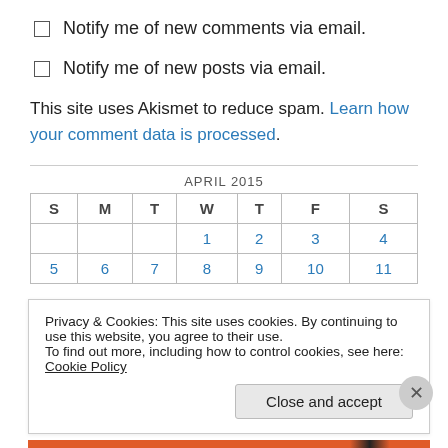Notify me of new comments via email.
Notify me of new posts via email.
This site uses Akismet to reduce spam. Learn how your comment data is processed.
| S | M | T | W | T | F | S |
| --- | --- | --- | --- | --- | --- | --- |
|  |  |  | 1 | 2 | 3 | 4 |
| 5 | 6 | 7 | 8 | 9 | 10 | 11 |
Privacy & Cookies: This site uses cookies. By continuing to use this website, you agree to their use.
To find out more, including how to control cookies, see here: Cookie Policy